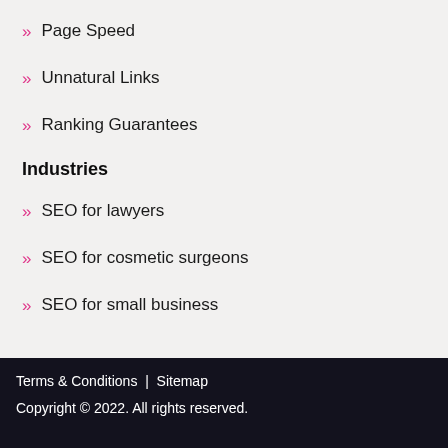Page Speed
Unnatural Links
Ranking Guarantees
Industries
SEO for lawyers
SEO for cosmetic surgeons
SEO for small business
Terms & Conditions  |  Sitemap
Copyright © 2022. All rights reserved.